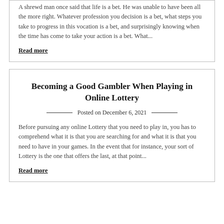A shrewd man once said that life is a bet. He was unable to have been all the more right. Whatever profession you decision is a bet, what steps you take to progress in this vocation is a bet, and surprisingly knowing when the time has come to take your action is a bet. What...
Read more
Becoming a Good Gambler When Playing in Online Lottery
Posted on December 6, 2021
Before pursuing any online Lottery that you need to play in, you has to comprehend what it is that you are searching for and what it is that you need to have in your games. In the event that for instance, your sort of Lottery is the one that offers the last, at that point...
Read more